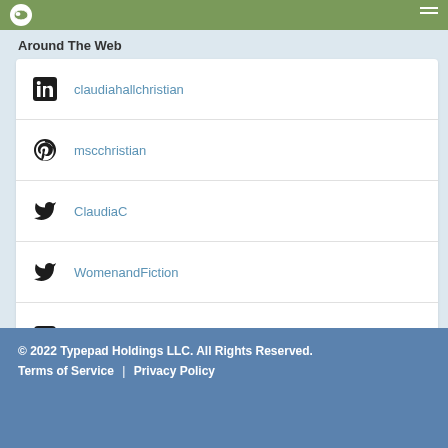Around The Web
claudiahallchristian (LinkedIn)
mscchristian (Pinterest)
ClaudiaC (Twitter)
WomenandFiction (Twitter)
claudiahallchristian (YouTube)
http://claudiahallchristian.com
© 2022 Typepad Holdings LLC. All Rights Reserved. Terms of Service | Privacy Policy